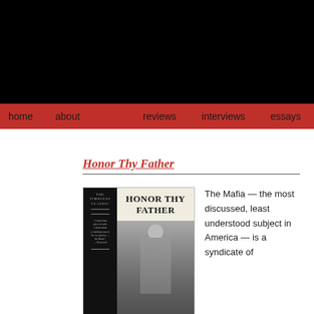[Figure (other): Black header banner area at top of webpage]
home   about   reviews   interviews   essays
Honor Thy Father
[Figure (photo): Book cover of 'Honor Thy Father' showing a black-and-white photo of a man in a suit and hat. The cover has a dark spine with text 'The Timeless Classic' and 'Newly Updated At'. The main cover shows the title 'HONOR THY FATHER' in large serif type over a grayscale photo.]
The Mafia — the most discussed, least understood subject in America — is a syndicate of